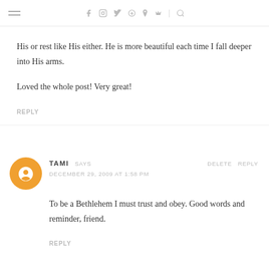navigation header with menu icon and social icons
His or rest like His either. He is more beautiful each time I fall deeper into His arms.

Loved the whole post! Very great!
REPLY
TAMI SAYS
DECEMBER 29, 2009 AT 1:58 PM
To be a Bethlehem I must trust and obey. Good words and reminder, friend.
REPLY